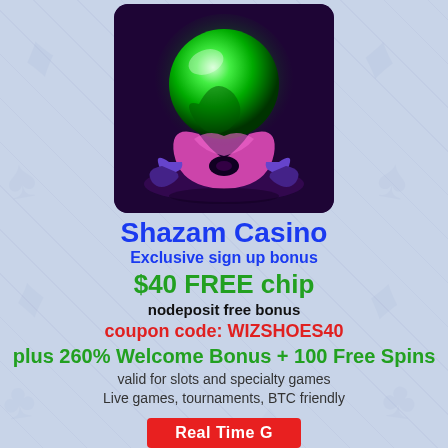[Figure (illustration): A glowing green crystal ball with colorful swirling ornamental base on a dark purple background, casino game themed artwork.]
Shazam Casino
Exclusive sign up bonus
$40 FREE chip
nodeposit free bonus
coupon code: WIZSHOES40
plus 260% Welcome Bonus + 100 Free Spins
valid for slots and specialty games
Live games, tournaments, BTC friendly
Real Time G